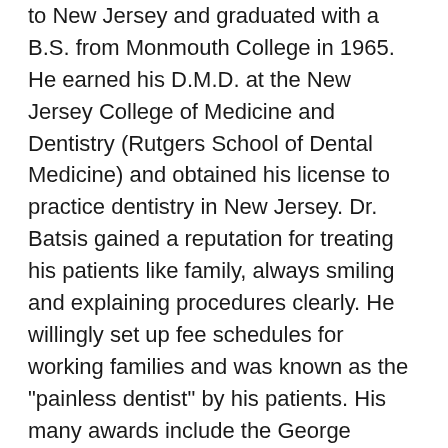to New Jersey and graduated with a B.S. from Monmouth College in 1965. He earned his D.M.D. at the New Jersey College of Medicine and Dentistry (Rutgers School of Dental Medicine) and obtained his license to practice dentistry in New Jersey. Dr. Batsis gained a reputation for treating his patients like family, always smiling and explaining procedures clearly. He willingly set up fee schedules for working families and was known as the "painless dentist" by his patients. His many awards include the George Hixson Fellowship Award (2X), the Kiwanis Legion of Honor Award in 1996 and 2001, and the Kiwanis Fred Briggs Award. From 1971, Dr. Batsis' interests turned to Kiwanis where he made himself known in Toms River, New Jersey, his place of residence for 35 years. His allegiances to Kiwanis led to his election as Governor of New Jersey Kiwanis. Following that, he became internationally known as a Kiwanis International Trustee and committee chair of Youth Services and more...